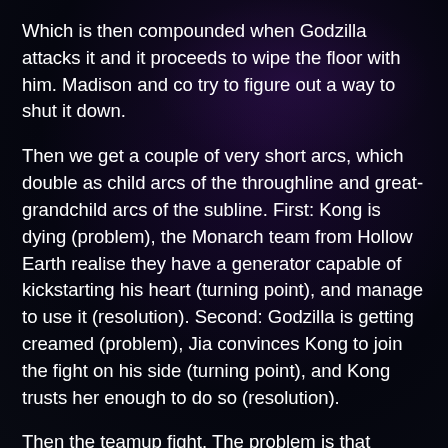Which is then compounded when Godzilla attacks it and it proceeds to wipe the floor with him. Madison and co try to figure out a way to shut it down.
Then we get a couple of very short arcs, which double as child arcs of the throughline and great-grandchild arcs of the subline. First: Kong is dying (problem), the Monarch team from Hollow Earth realise they have a generator capable of kickstarting his heart (turning point), and manage to use it (resolution). Second: Godzilla is getting creamed (problem), Jia convinces Kong to join the fight on his side (turning point), and Kong trusts her enough to do so (resolution).
Then the teamup fight. The problem is that despite